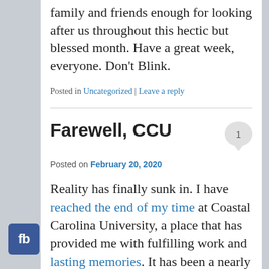family and friends enough for looking after us throughout this hectic but blessed month. Have a great week, everyone. Don't Blink.
Posted in Uncategorized | Leave a reply
Farewell, CCU
Posted on February 20, 2020
Reality has finally sunk in. I have reached the end of my time at Coastal Carolina University, a place that has provided me with fulfilling work and lasting memories. It has been a nearly six-year journey, one that has encompassed the better half of my professional career. It is impossible to